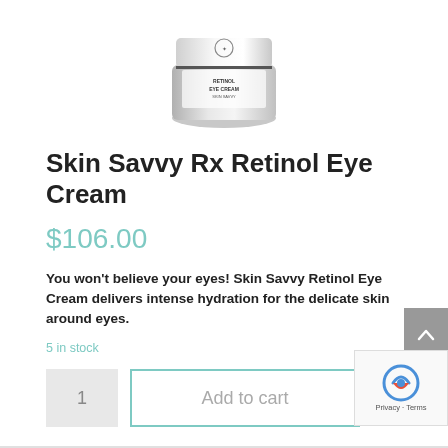[Figure (photo): Product image of Skin Savvy Rx Retinol Eye Cream jar/container, silver and white, partially visible at top of page]
Skin Savvy Rx Retinol Eye Cream
$106.00
You won't believe your eyes! Skin Savvy Retinol Eye Cream delivers intense hydration for the delicate skin around eyes.
5 in stock